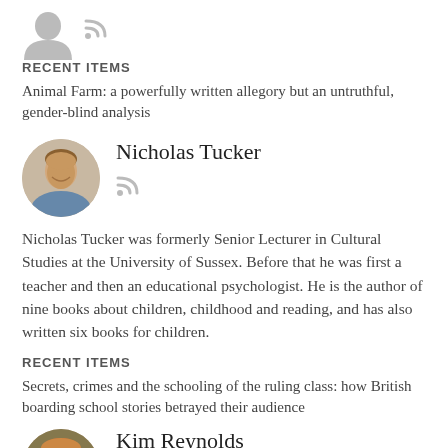[Figure (illustration): Generic person silhouette icon and RSS feed icon]
RECENT ITEMS
Animal Farm: a powerfully written allegory but an untruthful, gender-blind analysis
[Figure (photo): Circular profile photo of Nicholas Tucker, a smiling middle-aged man]
Nicholas Tucker
[Figure (illustration): RSS feed icon]
Nicholas Tucker was formerly Senior Lecturer in Cultural Studies at the University of Sussex. Before that he was first a teacher and then an educational psychologist. He is the author of nine books about children, childhood and reading, and has also written six books for children.
RECENT ITEMS
Secrets, crimes and the schooling of the ruling class: how British boarding school stories betrayed their audience
[Figure (photo): Partial circular profile photo of Kim Reynolds at bottom]
Kim Reynolds